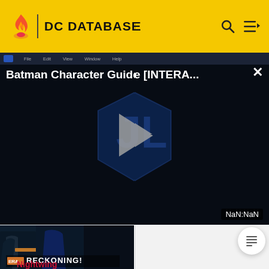DC DATABASE
[Figure (screenshot): Video player showing 'Batman Character Guide [INTERA...' with a dark background, DC Comics logo, play button, and timer showing NaN:NaN]
[Figure (illustration): Comic book image showing Batman-related characters with 'RECKONING!' text overlay]
Nightwing